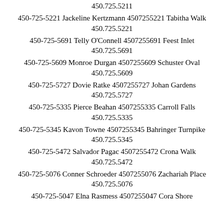450.725.5211
450-725-5221 Jackeline Kertzmann 4507255221 Tabitha Walk 450.725.5221
450-725-5691 Telly O'Connell 4507255691 Feest Inlet 450.725.5691
450-725-5609 Monroe Durgan 4507255609 Schuster Oval 450.725.5609
450-725-5727 Dovie Ratke 4507255727 Johan Gardens 450.725.5727
450-725-5335 Pierce Beahan 4507255335 Carroll Falls 450.725.5335
450-725-5345 Kavon Towne 4507255345 Bahringer Turnpike 450.725.5345
450-725-5472 Salvador Pagac 4507255472 Crona Walk 450.725.5472
450-725-5076 Conner Schroeder 4507255076 Zachariah Place 450.725.5076
450-725-5047 Elna Rasmess 4507255047 Cora Shore